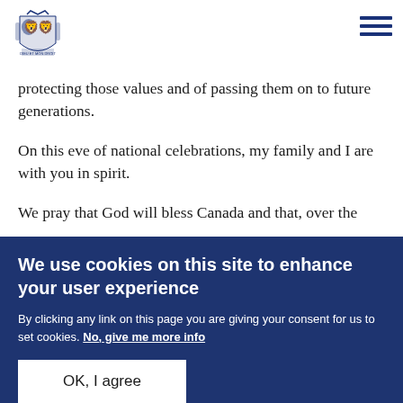[Royal coat of arms logo] [Hamburger menu icon]
protecting those values and of passing them on to future generations.
On this eve of national celebrations, my family and I are with you in spirit.
We pray that God will bless Canada and that, over the
We use cookies on this site to enhance your user experience
By clicking any link on this page you are giving your consent for us to set cookies. No, give me more info
OK, I agree